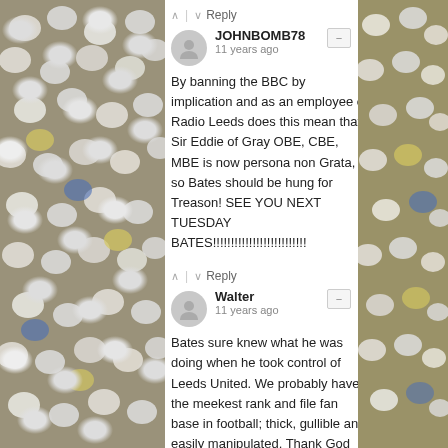[Figure (photo): Crowd of football fans in stadium, left side background]
^ | v Reply
JOHNBOMB78
11 years ago
By banning the BBC by implication and as an employee of Radio Leeds does this mean that Sir Eddie of Gray OBE, CBE, MBE is now persona non Grata, if so Bates should be hung for Treason! SEE YOU NEXT TUESDAY BATES!!!!!!!!!!!!!!!!!!!!!!!!!
^ | v Reply
Walter
11 years ago
Bates sure knew what he was doing when he took control of Leeds United. We probably have the meekest rank and file fan base in football; thick, gullible and easily manipulated. Thank God the BBC and Guardian haven&#039t let Bates out of their sights, because if it was down to the fans he&#039d have probably conned
[Figure (photo): Crowd of football fans in stadium, right side background]